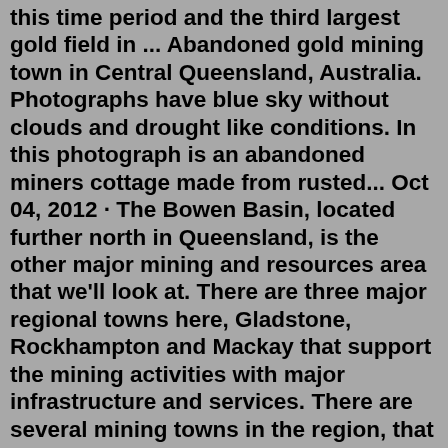this time period and the third largest gold field in ... Abandoned gold mining town in Central Queensland, Australia. Photographs have blue sky without clouds and drought like conditions. In this photograph is an abandoned miners cottage made from rusted... Oct 04, 2012 · The Bowen Basin, located further north in Queensland, is the other major mining and resources area that we'll look at. There are three major regional towns here, Gladstone, Rockhampton and Mackay that support the mining activities with major infrastructure and services. There are several mining towns in the region, that have experienced major ... The mining powerhouse has completed progressive rehabilitation of over 1300 hectares of mined land. "Glencore has also received Queensland and NSW Government sign-off (certification) for areas ... Apr 29, 2003 · The mineshafts and their surrounding remains are important in demonstrating the development of the mining industry in Queensland. They reflect the immense gold mining activity that occurred in Charters Towers from 1872 to 1917,